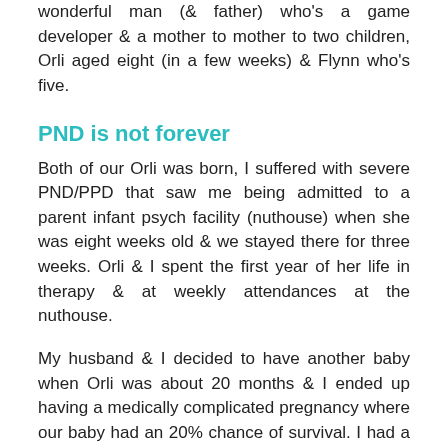wonderful man (& father) who's a game developer & a mother to mother to two children, Orli aged eight (in a few weeks) & Flynn who's five.
PND is not forever
Both of our Orli was born, I suffered with severe PND/PPD that saw me being admitted to a parent infant psych facility (nuthouse) when she was eight weeks old & we stayed there for three weeks. Orli & I spent the first year of her life in therapy & at weekly attendances at the nuthouse.
My husband & I decided to have another baby when Orli was about 20 months & I ended up having a medically complicated pregnancy where our baby had an 20% chance of survival. I had a bi-partite placenta, placenta previa & vasa previa& gave birth who presented back at hospital being 'failure to